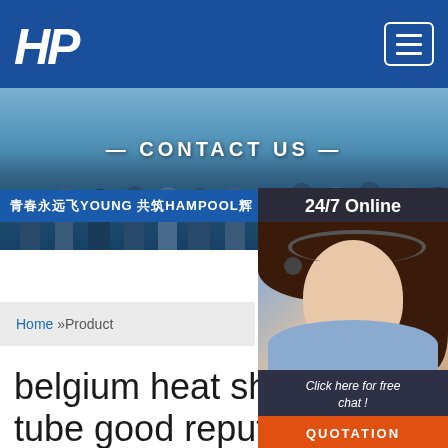[Figure (logo): HP logo in white italic bold font on blue header bar, with hamburger menu button on the right]
[Figure (photo): Banner showing group of people holding a banner with Chinese text and YOUNG HAMPOOL, with CONTACT US text overlay]
[Figure (photo): 24/7 Online contact box with woman wearing headset and Click here for free chat / QUOTATION button]
Home »Product
belgium heat shrin tube good reputat
Just fill in the form below, click submit, you will get the price list, and we will contact you within one working day. Please also feel free to contact us via email or phone. (* is required).